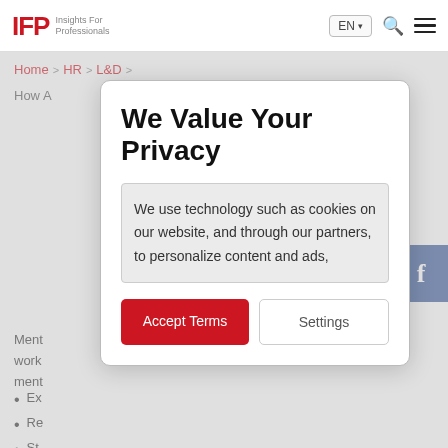IFP Insights For Professionals — EN | Search | Menu
Home > HR > L&D
How A...
We Value Your Privacy
We use technology such as cookies on our website, and through our partners, to personalize content and ads,
Accept Terms
Settings
Ment... ury work... ate in ment...
Ex...
Re...
St...